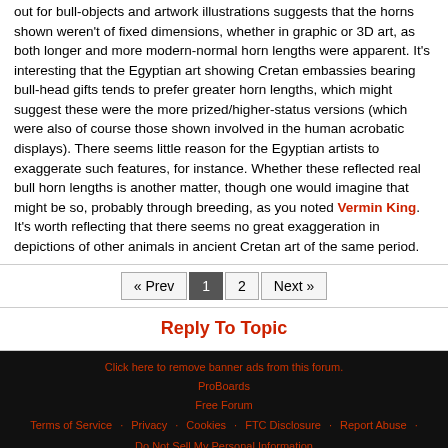out for bull-objects and artwork illustrations suggests that the horns shown weren't of fixed dimensions, whether in graphic or 3D art, as both longer and more modern-normal horn lengths were apparent. It's interesting that the Egyptian art showing Cretan embassies bearing bull-head gifts tends to prefer greater horn lengths, which might suggest these were the more prized/higher-status versions (which were also of course those shown involved in the human acrobatic displays). There seems little reason for the Egyptian artists to exaggerate such features, for instance. Whether these reflected real bull horn lengths is another matter, though one would imagine that might be so, probably through breeding, as you noted Vermin King. It's worth reflecting that there seems no great exaggeration in depictions of other animals in ancient Cretan art of the same period.
« Prev  1  2  Next »
Reply To Topic
Click here to remove banner ads from this forum. ProBoards Free Forum Terms of Service · Privacy · Cookies · FTC Disclosure · Report Abuse · Do Not Sell My Personal Information
◄ Back  ▲ Top  Desktop